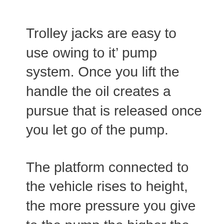Trolley jacks are easy to use owing to it' pump system. Once you lift the handle the oil creates a pursue that is released once you let go of the pump.
The platform connected to the vehicle rises to height, the more pressure you give to the pump the higher the vehicle will go.
Operating a trolley jack is simple enough and is a one-man job. Its lightweight body makes it super easy to move around and use, fits the jack had at it...